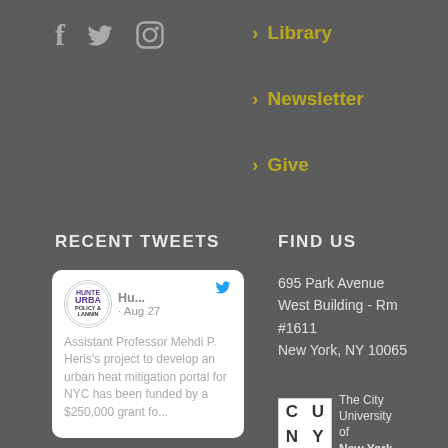[Figure (logo): Social media icons: Facebook (f), Twitter bird, Instagram camera]
> Library
> Newsletter
> Give
RECENT TWEETS
[Figure (screenshot): Embedded tweet card from Hunter Urban Policy & Planning account, dated Aug 27. Text: 'Assistant Professor Mehdi P. Heris's project to develop an urban heat mitigation portal for NYC has been funded by a $250,000 grant fo...']
FIND US
695 Park Avenue West Building - Rm #1611 New York, NY 10065
[Figure (logo): CUNY - The City University of New York logo]